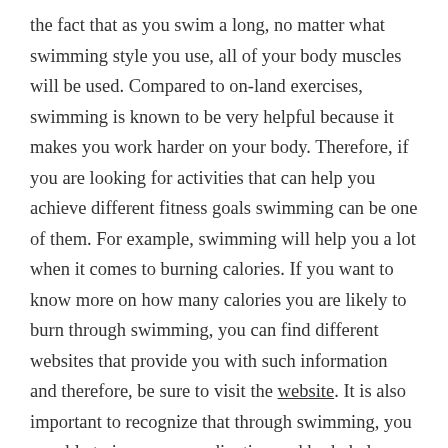the fact that as you swim a long, no matter what swimming style you use, all of your body muscles will be used. Compared to on-land exercises, swimming is known to be very helpful because it makes you work harder on your body. Therefore, if you are looking for activities that can help you achieve different fitness goals swimming can be one of them. For example, swimming will help you a lot when it comes to burning calories. If you want to know more on how many calories you are likely to burn through swimming, you can find different websites that provide you with such information and therefore, be sure to visit the website. It is also important to recognize that through swimming, you are able to improve coordination and body balance.
One more thing you will learn about swimming is that can be very helpful for general well-being. If you have